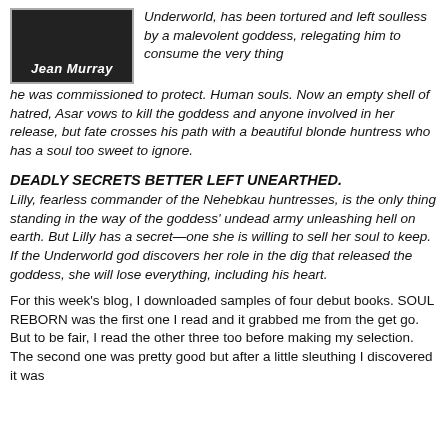[Figure (illustration): Book cover image showing 'Jean Murray' author name on a dark background]
Underworld, has been tortured and left soulless by a malevolent goddess, relegating him to consume the very thing he was commissioned to protect. Human souls. Now an empty shell of hatred, Asar vows to kill the goddess and anyone involved in her release, but fate crosses his path with a beautiful blonde huntress who has a soul too sweet to ignore.
DEADLY SECRETS BETTER LEFT UNEARTHED.
Lilly, fearless commander of the Nehebkau huntresses, is the only thing standing in the way of the goddess' undead army unleashing hell on earth. But Lilly has a secret—one she is willing to sell her soul to keep. If the Underworld god discovers her role in the dig that released the goddess, she will lose everything, including his heart.
For this week's blog, I downloaded samples of four debut books. SOUL REBORN was the first one I read and it grabbed me from the get go. But to be fair, I read the other three too before making my selection. The second one was pretty good but after a little sleuthing I discovered it was